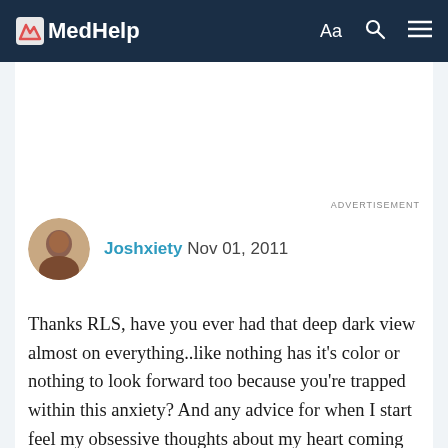MedHelp
ADVERTISEMENT
Joshxiety Nov 01, 2011
Thanks RLS, have you ever had that deep dark view almost on everything..like nothing has it's color or nothing to look forward too because you're trapped within this anxiety? And any advice for when I start feel my obsessive thoughts about my heart coming on? They are making me miserable.. I have a klonopin here but I am trying to hold off on them.. Ive had check ups years ago extensive and nothing was wrong